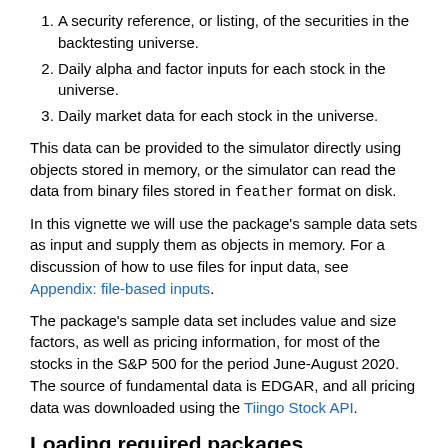A security reference, or listing, of the securities in the backtesting universe.
Daily alpha and factor inputs for each stock in the universe.
Daily market data for each stock in the universe.
This data can be provided to the simulator directly using objects stored in memory, or the simulator can read the data from binary files stored in feather format on disk.
In this vignette we will use the package's sample data sets as input and supply them as objects in memory. For a discussion of how to use files for input data, see Appendix: file-based inputs.
The package's sample data set includes value and size factors, as well as pricing information, for most of the stocks in the S&P 500 for the period June-August 2020. The source of fundamental data is EDGAR, and all pricing data was downloaded using the Tiingo Stock API.
Loading required packages
Two packages are required to work through the code in this vignette: strand and dplyr.